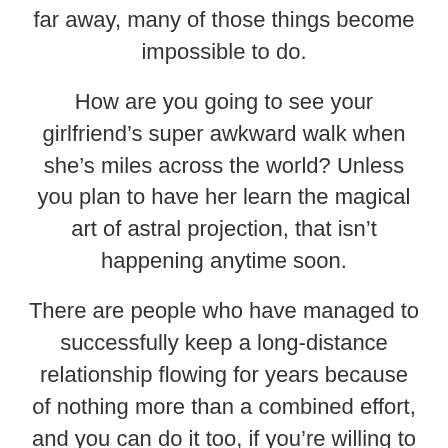far away, many of those things become impossible to do.
How are you going to see your girlfriend's super awkward walk when she's miles across the world? Unless you plan to have her learn the magical art of astral projection, that isn't happening anytime soon.
There are people who have managed to successfully keep a long-distance relationship flowing for years because of nothing more than a combined effort, and you can do it too, if you're willing to try.
You see, a relationship leads to the satisfaction of needs on a wholesome basis. You need somebody to be your impromptu nurse? Bae has got your back! You need a hug